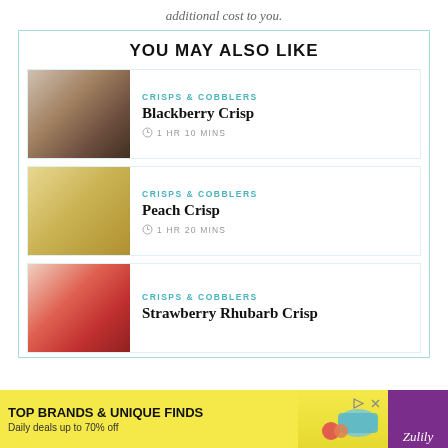additional cost to you.
YOU MAY ALSO LIKE
CRISPS & COBBLERS | Blackberry Crisp | 1 HR 10 MINS
CRISPS & COBBLERS | Peach Crisp | 1 HR 20 MINS
CRISPS & COBBLERS | Strawberry Rhubarb Crisp
[Figure (photo): Advertisement banner: TOP BRANDS & UNIQUE FINDS, Daily deals up to 70% off, Zulily]